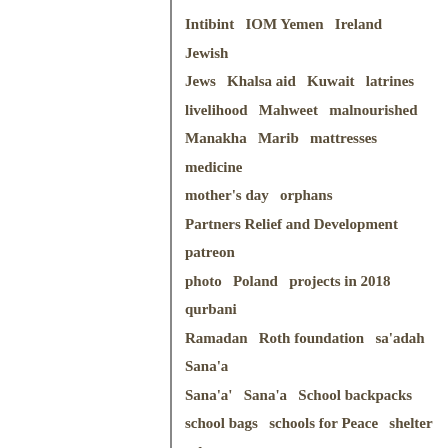Intibint   IOM Yemen   Ireland   Jewish
Jews   Khalsa aid   Kuwait   latrines
livelihood   Mahweet   malnourished
Manakha   Marib   mattresses   medicine
mother's day   orphans
Partners Relief and Development   patreon
photo   Poland   projects in 2018   qurbani
Ramadan   Roth foundation   sa'adah   Sana'a
Sana'a'   Sana&#39;a   School backpacks
school bags   schools for Peace   shelter   shoes
special needs   students   UNICEF   video
volunteers   WASH   water
Follow Us